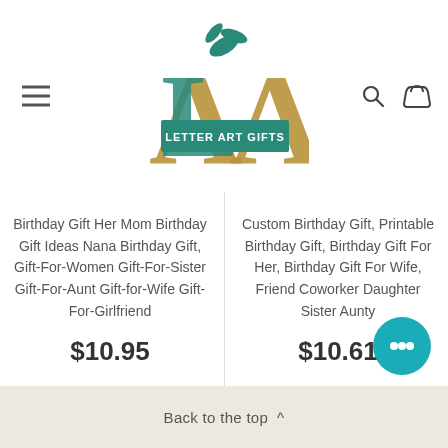[Figure (logo): Letter Art Gifts logo with decorative LA letters in teal and gold with floral elements]
Birthday Gift Her Mom Birthday Gift Ideas Nana Birthday Gift, Gift-For-Women Gift-For-Sister Gift-For-Aunt Gift-for-Wife Gift-For-Girlfriend
$10.95
Custom Birthday Gift, Printable Birthday Gift, Birthday Gift For Her, Birthday Gift For Wife, Friend Coworker Daughter Sister Aunty
$10.61
Back to the top ^